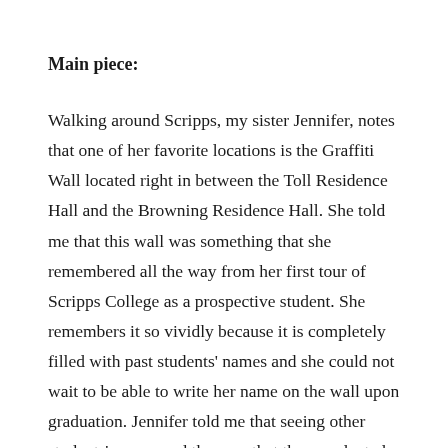Main piece:
Walking around Scripps, my sister Jennifer, notes that one of her favorite locations is the Graffiti Wall located right in between the Toll Residence Hall and the Browning Residence Hall. She told me that this wall was something that she remembered all the way from her first tour of Scripps College as a prospective student. She remembers it so vividly because it is completely filled with past students' names and she could not wait to be able to write her name on the wall upon graduation. Jennifer told me that seeing other students' names and the year that they graduated was a huge inspiration to her because she often passed by it on her way to classes at Harvey Mudd College and saw how many women that had been in her place in the past. She